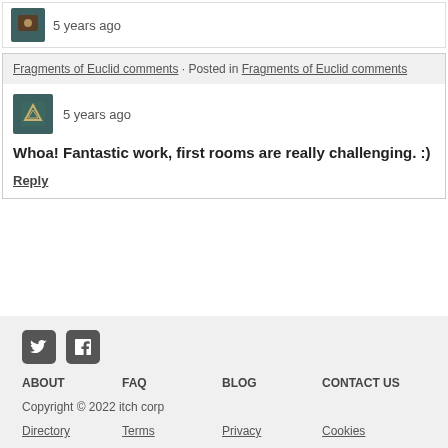5 years ago
Fragments of Euclid comments · Posted in Fragments of Euclid comments
5 years ago
Whoa! Fantastic work, first rooms are really challenging. :)
Reply
ABOUT  FAQ  BLOG  CONTACT US
Copyright © 2022 itch corp
Directory  Terms  Privacy  Cookies